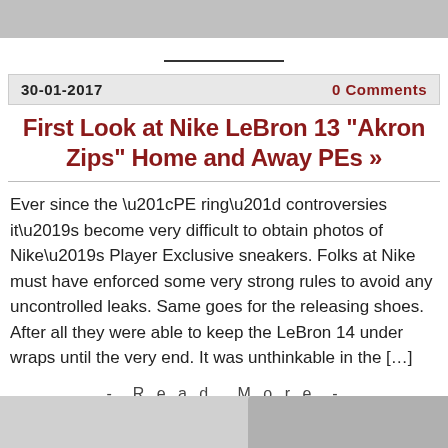[Figure (photo): Top cropped image bar, partially visible]
30-01-2017    0 Comments
First Look at Nike LeBron 13 "Akron Zips" Home and Away PEs »
Ever since the “PE ring” controversies it’s become very difficult to obtain photos of Nike’s Player Exclusive sneakers. Folks at Nike must have enforced some very strong rules to avoid any uncontrolled leaks. Same goes for the releasing shoes. After all they were able to keep the LeBron 14 under wraps until the very end. It was unthinkable in the […]
- Read More -
[Figure (photo): Bottom partial image of sneakers]